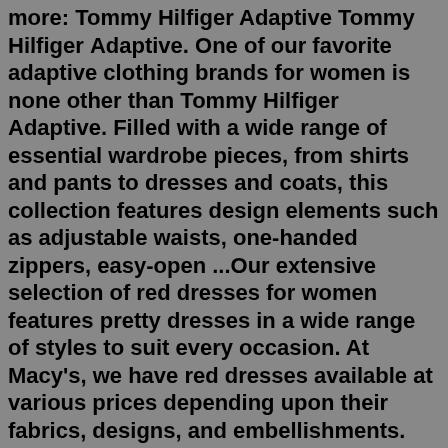more: Tommy Hilfiger Adaptive Tommy Hilfiger Adaptive. One of our favorite adaptive clothing brands for women is none other than Tommy Hilfiger Adaptive. Filled with a wide range of essential wardrobe pieces, from shirts and pants to dresses and coats, this collection features design elements such as adjustable waists, one-handed zippers, easy-open ...Our extensive selection of red dresses for women features pretty dresses in a wide range of styles to suit every occasion. At Macy's, we have red dresses available at various prices depending upon their fabrics, designs, and embellishments. You can find a budget-friendly red cotton dress with floral prints for a casual outing or elegant red ...We conducted our own research and and sifted through hundreds of online reviews to find the best summer dresses for women over 50 available. Our top picks 1 Best Overall Summer Dress Casual Short...Senior Clothing for Women - Needs Help to Dress/Assisted Dressing. If she loves dusters, but cannot dress herself, our snap back styles are perfect. Hint: Look for the AD symbol